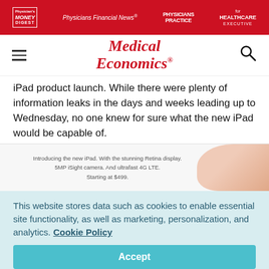Physician's Money Digest | Physicians Financial News | Physicians Practice | Healthcare Executive
Medical Economics
iPad product launch. While there were plenty of information leaks in the days and weeks leading up to Wednesday, no one knew for sure what the new iPad would be capable of.
[Figure (screenshot): Apple iPad advertisement showing text: Introducing the new iPad. With the stunning Retina display. 5MP iSight camera. And ultrafast 4G LTE. Starting at $499. With a hand holding an iPad on the right.]
This website stores data such as cookies to enable essential site functionality, as well as marketing, personalization, and analytics. Cookie Policy
Accept
Deny